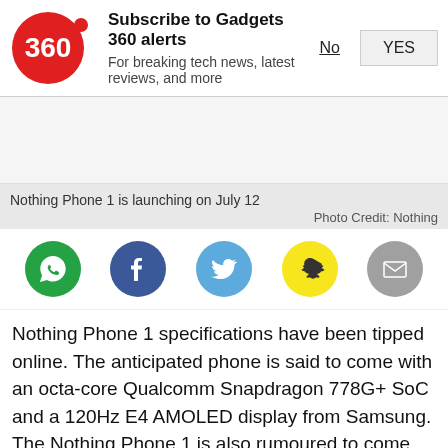[Figure (logo): Gadgets 360 red circle logo with '360' text and notification subscription prompt with No and YES buttons]
[Figure (photo): Nothing Phone 1 product image placeholder (gray area)]
Nothing Phone 1 is launching on July 12
Photo Credit: Nothing
[Figure (infographic): Social share icons row: WhatsApp (green), Facebook (blue), Twitter (light blue), Snapchat (yellow), Email (gray)]
Nothing Phone 1 specifications have been tipped online. The anticipated phone is said to come with an octa-core Qualcomm Snapdragon 778G+ SoC and a 120Hz E4 AMOLED display from Samsung. The Nothing Phone 1 is also rumoured to come with at least 128GB of onboard storage. Alongside the tipped specifications